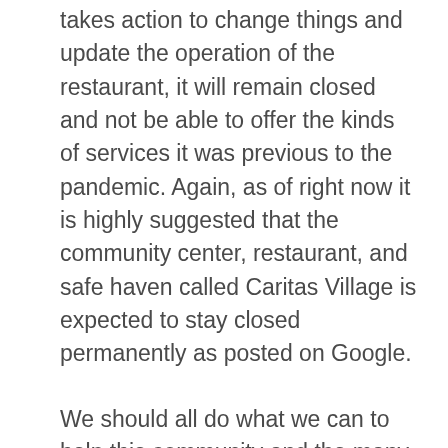takes action to change things and update the operation of the restaurant, it will remain closed and not be able to offer the kinds of services it was previous to the pandemic. Again, as of right now it is highly suggested that the community center, restaurant, and safe haven called Caritas Village is expected to stay closed permanently as posted on Google.
We should all do what we can to help this community and the many like it as the United States continues to open and allows people to go out more and be in closer contact with each other. Without places like